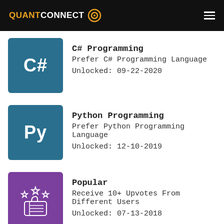QUANTCONNECT
C# Programming
Prefer C# Programming Language
Unlocked: 09-22-2020
Python Programming
Prefer Python Programming Language
Unlocked: 12-10-2019
Popular
Receive 10+ Upvotes From Different Users
Unlocked: 07-13-2018